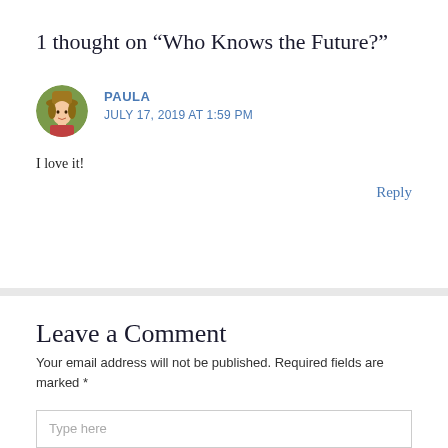1 thought on “Who Knows the Future?”
PAULA
JULY 17, 2019 AT 1:59 PM
I love it!
Reply
Leave a Comment
Your email address will not be published. Required fields are marked *
Type here